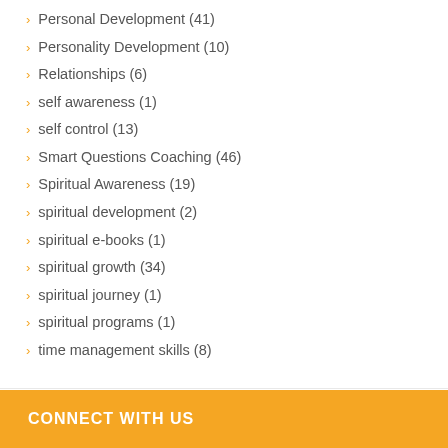Personal Development (41)
Personality Development (10)
Relationships (6)
self awareness (1)
self control (13)
Smart Questions Coaching (46)
Spiritual Awareness (19)
spiritual development (2)
spiritual e-books (1)
spiritual growth (34)
spiritual journey (1)
spiritual programs (1)
time management skills (8)
CONNECT WITH US